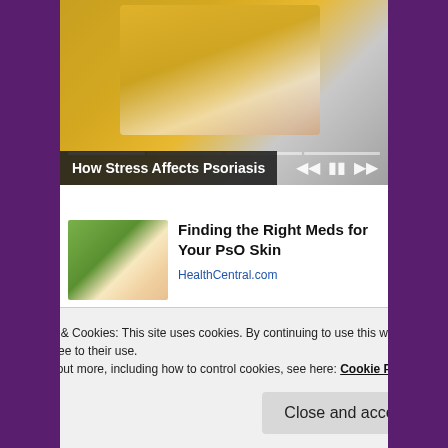[Figure (photo): Video player screenshot showing a person in a yellow/mustard sweater scratching their arm, with playback controls (rewind, pause, fast-forward) and a progress bar at the bottom. Title overlay reads 'How Stress Affects Psoriasis'.]
[Figure (photo): Thumbnail image showing a hand holding a small object, possibly a pill or capsule, against a blurred green background.]
Finding the Right Meds for Your PsO Skin
HealthCentral.com
Privacy & Cookies: This site uses cookies. By continuing to use this website, you agree to their use.
To find out more, including how to control cookies, see here: Cookie Policy
Close and accept
[Figure (photo): Small thumbnail image at the bottom of the page.]
Shadow and Act